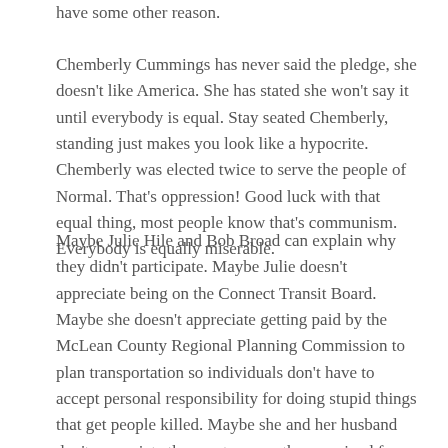have some other reason.
Chemberly Cummings has never said the pledge, she doesn't like America. She has stated she won't say it until everybody is equal. Stay seated Chemberly, standing just makes you look like a hypocrite. Chemberly was elected twice to serve the people of Normal. That's oppression! Good luck with that equal thing, most people know that's communism. Everybody is equally miserable.
Maybe Julie Hile and Bob Broad can explain why they didn't participate. Maybe Julie doesn't appreciate being on the Connect Transit Board. Maybe she doesn't appreciate getting paid by the McLean County Regional Planning Commission to plan transportation so individuals don't have to accept personal responsibility for doing stupid things that get people killed. Maybe she and her husband don't appreciate the grant money they received for historic preservation of Normandy Village. Maybe they just hate America too. What is the reason Hile-Broads?